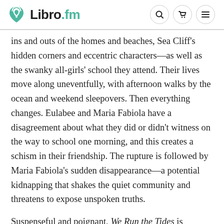Libro.fm
ins and outs of the homes and beaches, Sea Cliff's hidden corners and eccentric characters—as well as the swanky all-girls' school they attend. Their lives move along uneventfully, with afternoon walks by the ocean and weekend sleepovers. Then everything changes. Eulabee and Maria Fabiola have a disagreement about what they did or didn't witness on the way to school one morning, and this creates a schism in their friendship. The rupture is followed by Maria Fabiola's sudden disappearance—a potential kidnapping that shakes the quiet community and threatens to expose unspoken truths.
Suspenseful and poignant, We Run the Tides is Vendela Vida's masterpiece depiction of an inimitable place on